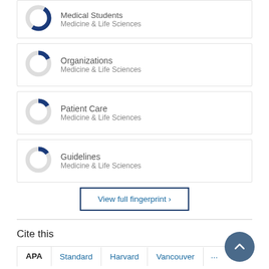[Figure (donut-chart): Partial donut chart for Medical Students with blue segment, Medicine & Life Sciences]
Medical Students
Medicine & Life Sciences
[Figure (donut-chart): Donut chart for Organizations with small blue segment, Medicine & Life Sciences]
Organizations
Medicine & Life Sciences
[Figure (donut-chart): Donut chart for Patient Care with small blue segment, Medicine & Life Sciences]
Patient Care
Medicine & Life Sciences
[Figure (donut-chart): Donut chart for Guidelines with small blue segment, Medicine & Life Sciences]
Guidelines
Medicine & Life Sciences
View full fingerprint ›
Cite this
APA   Standard   Harvard   Vancouver   ...